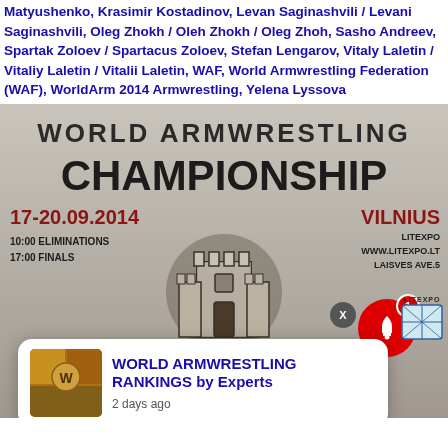Matyushenko, Krasimir Kostadinov, Levan Saginashvili / Levani Saginashvili, Oleg Zhokh / Oleh Zhokh / Oleg Zhoh, Sasho Andreev, Spartak Zoloev / Spartacus Zoloev, Stefan Lengarov, Vitaly Laletin / Vitaliy Laletin / Vitalii Laletin, WAF, World Armwrestling Federation (WAF), WorldArm 2014 Armwrestling, Yelena Lyssova
[Figure (photo): World Armwrestling Championship poster for 17-20.09.2014 in Vilnius, Litexpo, with a notification overlay showing 'WORLD ARMWRESTLING RANKINGS by Experts - 2 days ago' and a red bell notification icon.]